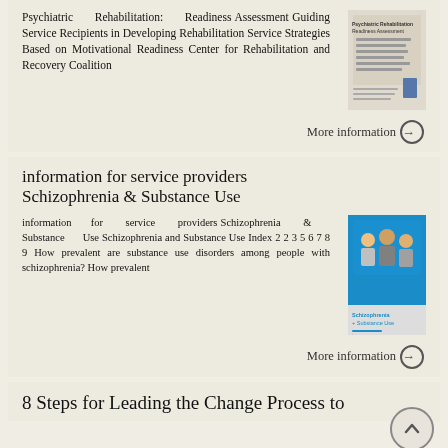Psychiatric Rehabilitation: Readiness Assessment Guiding Service Recipients in Developing Rehabilitation Service Strategies Based on Motivational Readiness Center for Rehabilitation and Recovery Coalition
[Figure (other): Cover image of Psychiatric Rehabilitation Readiness Assessment booklet]
More information →
information for service providers Schizophrenia & Substance Use
information for service providers Schizophrenia & Substance Use Schizophrenia and Substance Use Index 2 2 3 5 6 7 8 9 How prevalent are substance use disorders among people with schizophrenia? How prevalent
[Figure (other): Cover image of Schizophrenia & Substance Use booklet showing people on blue background]
More information →
8 Steps for Leading the Change Process to